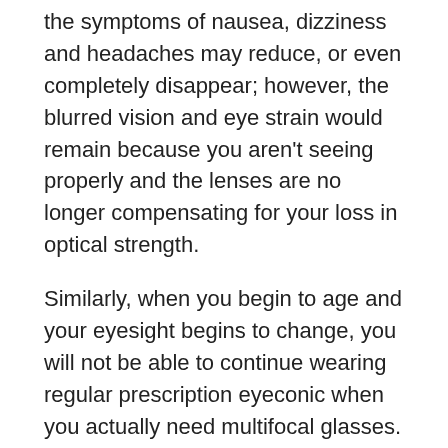the symptoms of nausea, dizziness and headaches may reduce, or even completely disappear; however, the blurred vision and eye strain would remain because you aren't seeing properly and the lenses are no longer compensating for your loss in optical strength.
Similarly, when you begin to age and your eyesight begins to change, you will not be able to continue wearing regular prescription eyeconic when you actually need multifocal glasses. If not corrected with the appropriate prescription strength, you will continue to strain your eyes and suffer from these other unpleasant symptoms.